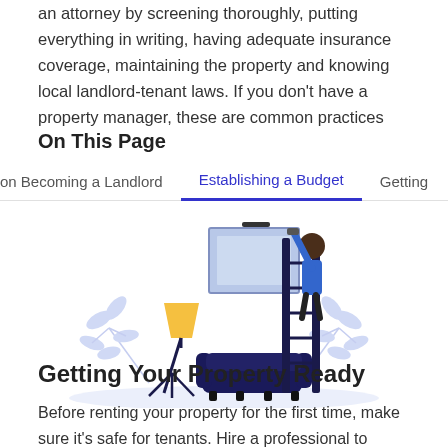an attorney by screening thoroughly, putting everything in writing, having adequate insurance coverage, maintaining the property and knowing local landlord-tenant laws. If you don't have a property manager, these are common practices
On This Page
on Becoming a Landlord   Establishing a Budget   Getting
[Figure (illustration): Illustration of a room being prepared for renting: a person on a ladder painting a wall, a framed picture on the wall, a yellow floor lamp on a tripod, a dark blue sofa, and decorative leaf branches, all in a soft blue and dark navy color palette.]
Getting Your Property Ready
Before renting your property for the first time, make sure it's safe for tenants. Hire a professional to make sure electrical,